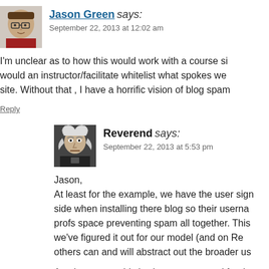[Figure (photo): Avatar photo of Jason Green, a man with glasses]
Jason Green says:
September 22, 2013 at 12:02 am
I'm unclear as to how this would work with a course si… would an instructor/facilitate whitelist what spokes we… site. Without that , I have a horrific vision of blog spam…
Reply
[Figure (illustration): Avatar illustration of Reverend character with white hair]
Reverend says:
September 22, 2013 at 5:53 pm
Jason,
At least for the example, we have the user sign… side when installing there blog so their userna… profs space preventing spam all together. This… we've figured it out for our model (and on Re… others can and will abstract out the broader us…
Another way at this is share a password for the…